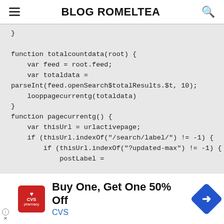BLOG ROMELTEA
}

function totalcountdata(root) {
    var feed = root.feed;
    var totaldata =
parseInt(feed.openSearch$totalResults.$t, 10);
    looppagecurrentg(totaldata)
}
function pagecurrentg() {
    var thisUrl = urlactivepage;
    if (thisUrl.indexOf("/search/label/") != -1) {
        if (thisUrl.indexOf("?updated-max") != -1) {
            postLabel =
[Figure (screenshot): CVS pharmacy Buy One, Get One 50% Off advertisement banner]